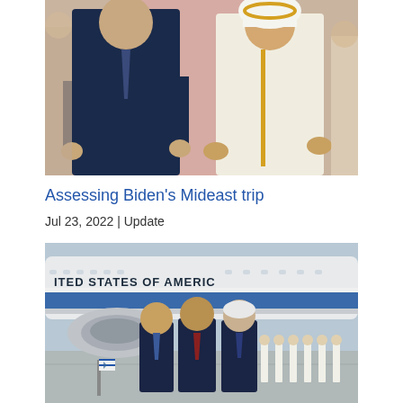[Figure (photo): Two men standing side by side: one in a dark navy suit on the left, one in a white traditional thobe with gold trim on the right. Background shows pink/red patterned fabric.]
Assessing Biden’s Mideast trip
Jul 23, 2022 | Update
[Figure (photo): Three men in dark suits greeting each other on a tarmac in front of Air Force One (United States of America visible on the fuselage). Israeli and American flags visible. Honor guard in background.]